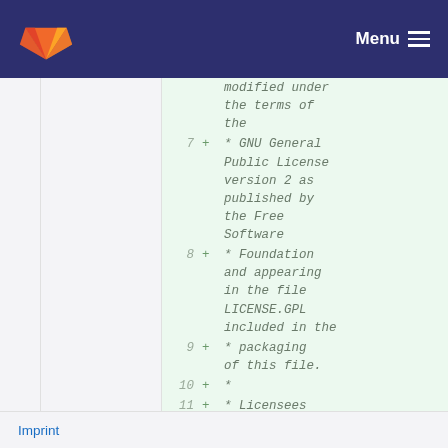GitLab — Menu
Modified under the terms of the
7  +  * GNU General Public License version 2 as published by the Free Software
8  +  * Foundation and appearing in the file LICENSE.GPL included in the
9  +  * packaging of this file.
10 +  *
11 +  * Licensees holding valid libFirm
Imprint